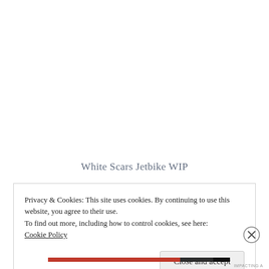White Scars Jetbike WIP
Privacy & Cookies: This site uses cookies. By continuing to use this website, you agree to their use.
To find out more, including how to control cookies, see here: Cookie Policy
Close and accept